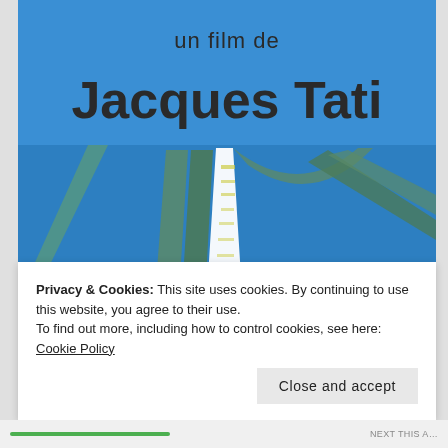[Figure (illustration): Movie poster for 'Trafic' directed by Jacques Tati. Blue background with stylized illustration of converging road/highway lines forming abstract geometric shapes. Text at top reads 'un film de Jacques Tati'. The word 'trafic' is partially visible at the bottom in large dark letters.]
Privacy & Cookies: This site uses cookies. By continuing to use this website, you agree to their use.
To find out more, including how to control cookies, see here: Cookie Policy
Close and accept